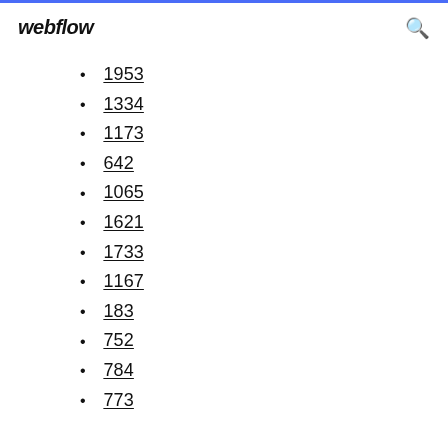webflow
1953
1334
1173
642
1065
1621
1733
1167
183
752
784
773